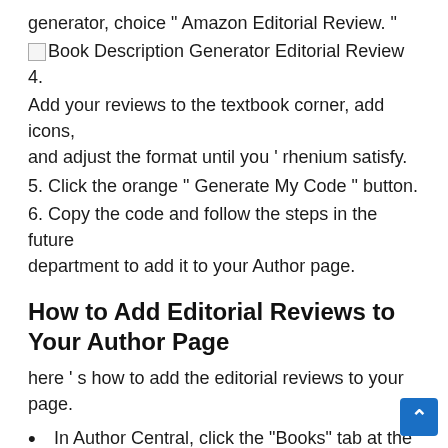generator, choice “ Amazon Editorial Review. ”
[Figure (screenshot): Broken image icon followed by text: Book Description Generator Editorial Review 4.]
Add your reviews to the textbook corner, add icons, and adjust the format until you ’ rhenium satisfy.
5. Click the orange “ Generate My Code ” button.
6. Copy the code and follow the steps in the future department to add it to your Author page.
How to Add Editorial Reviews to Your Author Page
here ’ s how to add the editorial reviews to your page.
In Author Central, click the “Books” tab at the top of the page.